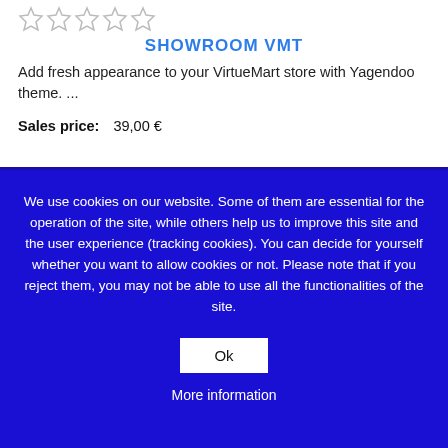[Figure (other): Five empty star rating icons]
SHOWROOM VMT
Add fresh appearance to your VirtueMart store with Yagendoo theme. ...
Sales price:    39,00 €
We use cookies on our website. Some of them are essential for the operation of the site, while others help us to improve this site and the user experience (tracking cookies). You can decide for yourself whether you want to allow cookies or not. Please note that if you reject them, you may not be able to use all the functionalities of the site.
Ok
More information